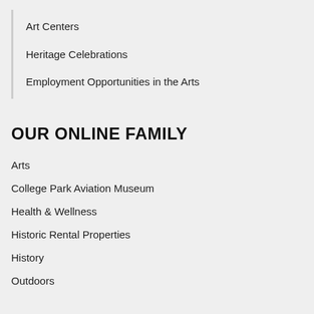Art Centers
Heritage Celebrations
Employment Opportunities in the Arts
OUR ONLINE FAMILY
Arts
College Park Aviation Museum
Health & Wellness
Historic Rental Properties
History
Outdoors